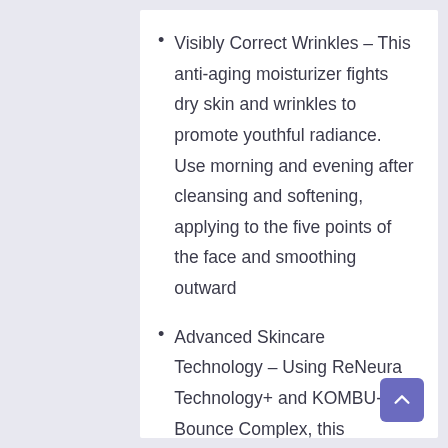Visibly Correct Wrinkles – This anti-aging moisturizer fights dry skin and wrinkles to promote youthful radiance. Use morning and evening after cleansing and softening, applying to the five points of the face and smoothing outward
Advanced Skincare Technology – Using ReNeura Technology+ and KOMBU-Bounce Complex, this revolutionary cream combines the power of